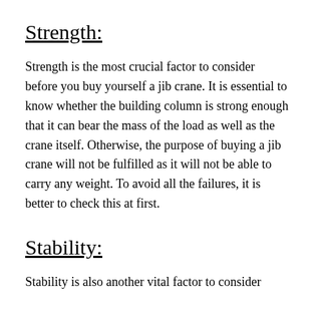Strength:
Strength is the most crucial factor to consider before you buy yourself a jib crane. It is essential to know whether the building column is strong enough that it can bear the mass of the load as well as the crane itself. Otherwise, the purpose of buying a jib crane will not be fulfilled as it will not be able to carry any weight. To avoid all the failures, it is better to check this at first.
Stability:
Stability is also another vital factor to consider